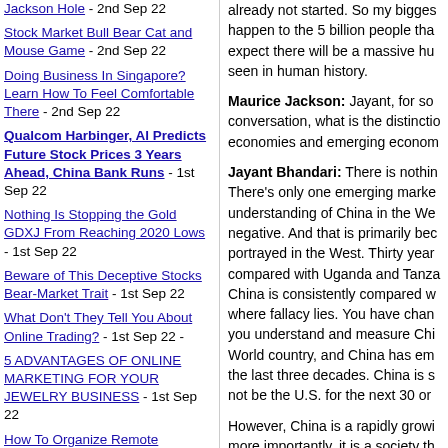Jackson Hole - 2nd Sep 22
Stock Market Bull Bear Cat and Mouse Game - 2nd Sep 22
Doing Business In Singapore? Learn How To Feel Comfortable There - 2nd Sep 22
Qualcom Harbinger, Al Predicts Future Stock Prices 3 Years Ahead, China Bank Runs - 1st Sep 22
Nothing Is Stopping the Gold GDXJ From Reaching 2020 Lows - 1st Sep 22
Beware of This Deceptive Stocks Bear-Market Trait - 1st Sep 22
What Don't They Tell You About Online Trading? - 1st Sep 22 -
5 ADVANTAGES OF ONLINE MARKETING FOR YOUR JEWELRY BUSINESS - 1st Sep 22
How To Organize Remote
already not started. So my bigges happen to the 5 billion people tha expect there will be a massive hu seen in human history.
Maurice Jackson: Jayant, for so conversation, what is the distinctio economies and emerging econom
Jayant Bhandari: There is nothin There's only one emerging marke understanding of China in the We negative. And that is primarily bec portrayed in the West. Thirty year compared with Uganda and Tanza China is consistently compared w where fallacy lies. You have chan you understand and measure Chi World country, and China has em the last three decades. China is s not be the U.S. for the next 30 or
However, China is a rapidly growi more importantly, it is a society th politically, socially and culturally. A whether they are improving or the China is improving, hence I call C